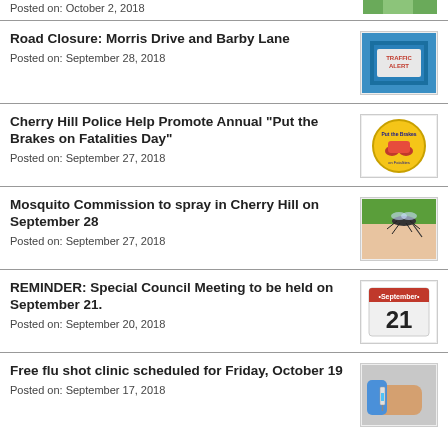Posted on: October 2, 2018
Road Closure: Morris Drive and Barby Lane
Posted on: September 28, 2018
Cherry Hill Police Help Promote Annual "Put the Brakes on Fatalities Day"
Posted on: September 27, 2018
Mosquito Commission to spray in Cherry Hill on September 28
Posted on: September 27, 2018
REMINDER: Special Council Meeting to be held on September 21.
Posted on: September 20, 2018
Free flu shot clinic scheduled for Friday, October 19
Posted on: September 17, 2018